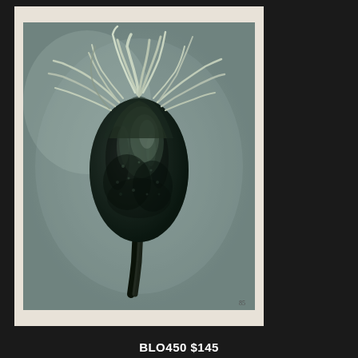[Figure (photo): Close-up black and white botanical photograph of a flower bud or seed pod with tentacle-like stigmas or styles emerging from the top. The bulbous, textured pod is mounted on a slender stem against a grey background. Page number 85 visible at bottom right of photograph. Classic Karl Blossfeldt style plant macro photography.]
BLO450 $145